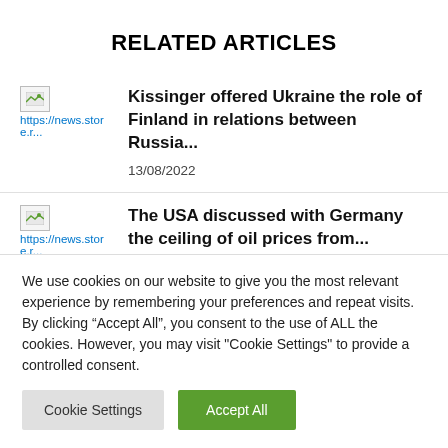RELATED ARTICLES
Kissinger offered Ukraine the role of Finland in relations between Russia... 13/08/2022
The USA discussed with Germany the ceiling of oil prices from... 03/08/2022
We use cookies on our website to give you the most relevant experience by remembering your preferences and repeat visits. By clicking “Accept All”, you consent to the use of ALL the cookies. However, you may visit "Cookie Settings" to provide a controlled consent.